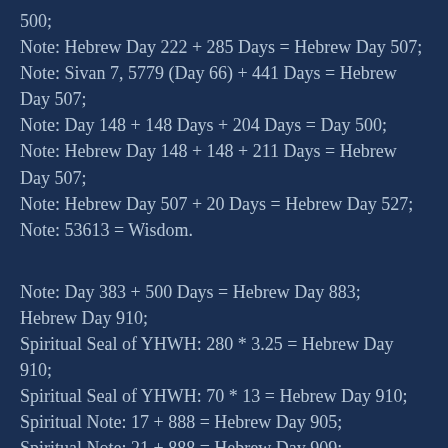500;
Note: Hebrew Day 222 + 285 Days = Hebrew Day 507;
Note: Sivan 7, 5779 (Day 66) + 441 Days = Hebrew Day 507;
Note: Day 148 + 148 Days + 204 Days = Day 500;
Note: Hebrew Day 148 + 148 + 211 Days = Hebrew Day 507;
Note: Hebrew Day 507 + 20 Days = Hebrew Day 527;
Note: 53613 = Wisdom.
Note: Day 383 + 500 Days = Hebrew Day 883;
Hebrew Day 910;
Spiritual Seal of YHWH: 280 * 3.25 = Hebrew Day 910;
Spiritual Seal of YHWH: 70 * 13 = Hebrew Day 910;
Spiritual Note: 17 + 888 = Hebrew Day 905;
Spiritual Note: 21 + 888 = Hebrew Day 909;